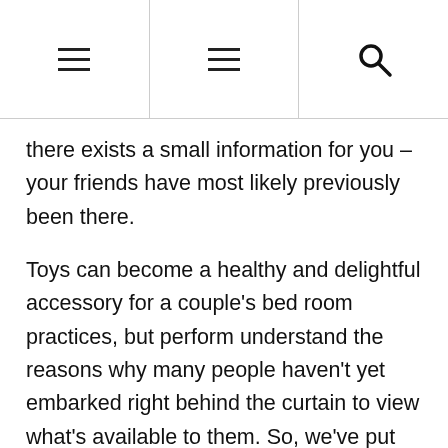Navigation header with two hamburger menu icons and a search icon
there exists a small information for you – your friends have most likely previously been there.
Toys can become a healthy and delightful accessory for a couple's bed room practices, but perform understand the reasons why many people haven't yet embarked right behind the curtain to view what's available to them. So, we've put together several of the reasons we've noticed over time, using a slightly more enlightened look at to counter them.
Only Filthy Individuals Utilize Them – There exists a perception, you might even consider it a mild